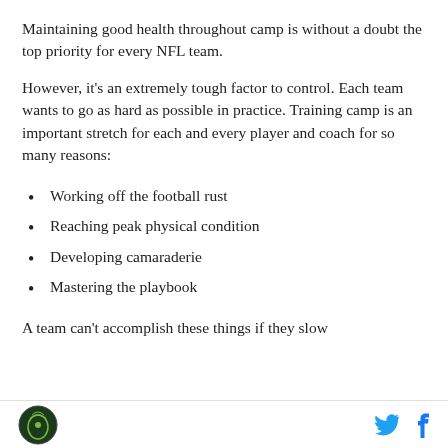Maintaining good health throughout camp is without a doubt the top priority for every NFL team.
However, it’s an extremely tough factor to control. Each team wants to go as hard as possible in practice. Training camp is an important stretch for each and every player and coach for so many reasons:
Working off the football rust
Reaching peak physical condition
Developing camaraderie
Mastering the playbook
A team can’t accomplish these things if they slow